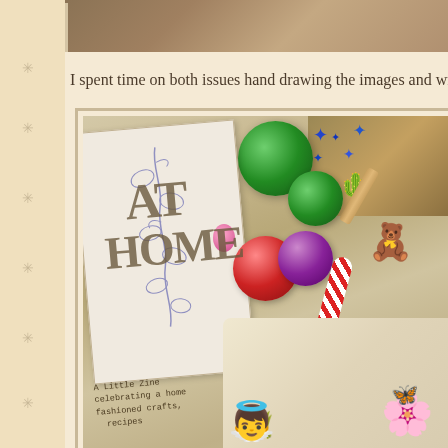[Figure (photo): Top portion of a photograph showing a warm brown/golden background, partially cropped at the top of the page]
I spent time on both issues hand drawing the images and writing. The
[Figure (photo): Photograph of a handmade zine titled 'At Home' surrounded by colorful Christmas ornaments (green glitter balls, red ball, purple ball), a candy cane, blue star decorations, a gingerbread man figure, and a fairy/angel illustration in the lower right. The zine cover shows hand-drawn vine/floral artwork and text reading 'A Little Zine celebrating a home-fashioned crafts, recipes']